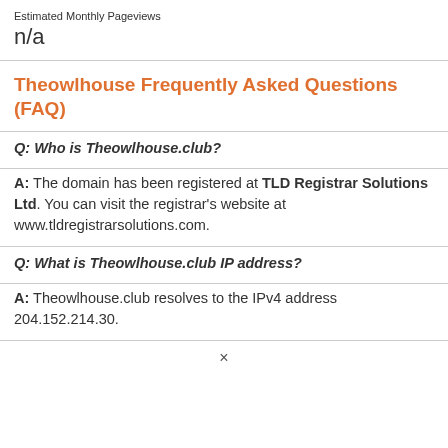Estimated Monthly Pageviews
n/a
Theowlhouse Frequently Asked Questions (FAQ)
Q: Who is Theowlhouse.club?
A: The domain has been registered at TLD Registrar Solutions Ltd. You can visit the registrar's website at www.tldregistrarsolutions.com.
Q: What is Theowlhouse.club IP address?
A: Theowlhouse.club resolves to the IPv4 address 204.152.214.30.